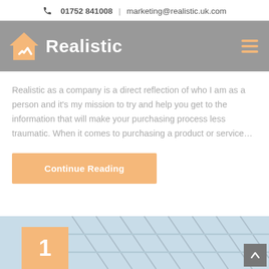📞 01752 841008 | marketing@realistic.uk.com
[Figure (logo): Realistic company logo with orange house checkmark icon and white bold text 'Realistic' on grey navigation bar]
Realistic as a company is a direct reflection of who I am as a person and it's my mission to try and help you get to the information that will make your purchasing process less traumatic. When it comes to purchasing a product or service…
Continue Reading
[Figure (photo): Partial bottom section showing an orange square badge with number 1, and a background image of a glass conservatory roof structure]